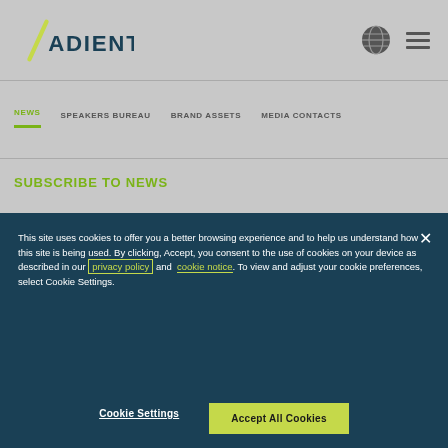[Figure (logo): Adient logo with green slash mark and dark teal ADIENT text]
NEWS | SPEAKERS BUREAU | BRAND ASSETS | MEDIA CONTACTS
SUBSCRIBE TO NEWS
This site uses cookies to offer you a better browsing experience and to help us understand how this site is being used. By clicking, Accept, you consent to the use of cookies on your device as described in our privacy policy and cookie notice. To view and adjust your cookie preferences, select Cookie Settings.
Cookie Settings
Accept All Cookies